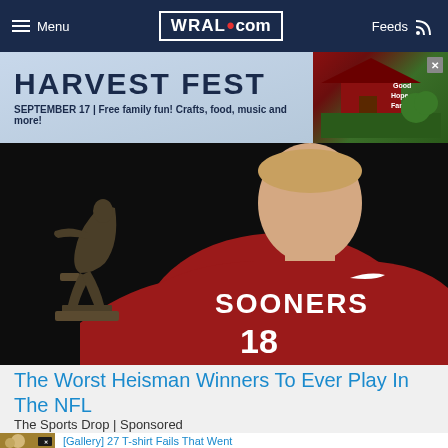Menu  WRAL.com  Feeds
[Figure (advertisement): Harvest Fest advertisement. Text: HARVEST FEST, SEPTEMBER 17 | Free family fun! Crafts, food, music and more! With a farm illustration on the right side.]
[Figure (photo): A young man wearing a red Oklahoma Sooners jersey number 18 posing next to the Heisman Trophy statue on a dark background.]
The Worst Heisman Winners To Ever Play In The NFL
The Sports Drop | Sponsored
[Gallery] 27 T-shirt Fails That Went